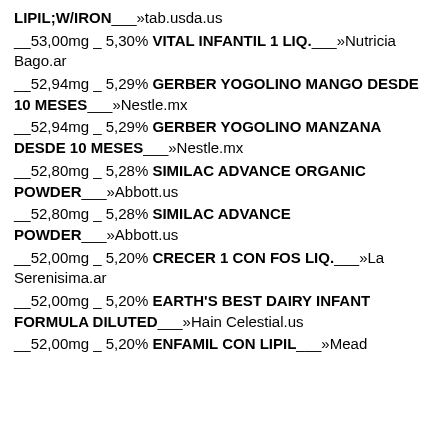LIPIL;W/IRON___»tab.usda.us
__53,00mg _ 5,30% VITAL INFANTIL 1 LIQ.___»Nutricia Bago.ar
__52,94mg _ 5,29% GERBER YOGOLINO MANGO DESDE 10 MESES___»Nestle.mx
__52,94mg _ 5,29% GERBER YOGOLINO MANZANA DESDE 10 MESES___»Nestle.mx
__52,80mg _ 5,28% SIMILAC ADVANCE ORGANIC POWDER___»Abbott.us
__52,80mg _ 5,28% SIMILAC ADVANCE POWDER___»Abbott.us
__52,00mg _ 5,20% CRECER 1 CON FOS LIQ.___»La Serenisima.ar
__52,00mg _ 5,20% EARTH'S BEST DAIRY INFANT FORMULA DILUTED___»Hain Celestial.us
__52,00mg _ 5,20% ENFAMIL CON LIPIL___»Mead